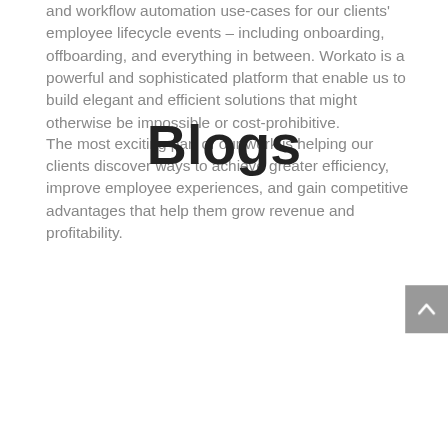and workflow automation use-cases for our clients' employee lifecycle events – including onboarding, offboarding, and everything in between. Workato is a powerful and sophisticated platform that enable us to build elegant and efficient solutions that might otherwise be impossible or cost-prohibitive.
The most exciting part of our work is helping our clients discover ways to achieve greater efficiency, improve employee experiences, and gain competitive advantages that help them grow revenue and profitability.
Blogs